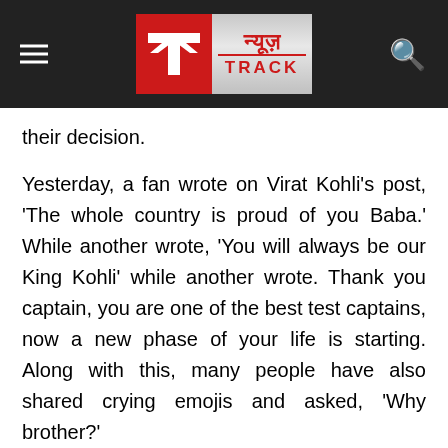News Track
their decision.
Yesterday, a fan wrote on Virat Kohli's post, 'The whole country is proud of you Baba.' While another wrote, 'You will always be our King Kohli' while another wrote. Thank you captain, you are one of the best test captains, now a new phase of your life is starting. Along with this, many people have also shared crying emojis and asked, 'Why brother?'
Boney Kapoor shares daughters' candid picture, fans happy to see
Siddharth Malhotra was 'King' of modelling world